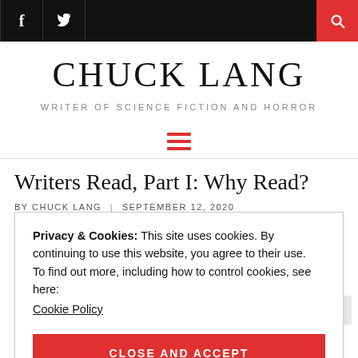f  [twitter icon]  [search icon]
CHUCK LANG
WRITER OF SCIENCE FICTION AND HORROR
[Figure (other): Hamburger menu icon (three red horizontal lines)]
Writers Read, Part I: Why Read?
BY CHUCK LANG  |  SEPTEMBER 12, 2020
Privacy & Cookies: This site uses cookies. By continuing to use this website, you agree to their use.
To find out more, including how to control cookies, see here:
Cookie Policy

CLOSE AND ACCEPT